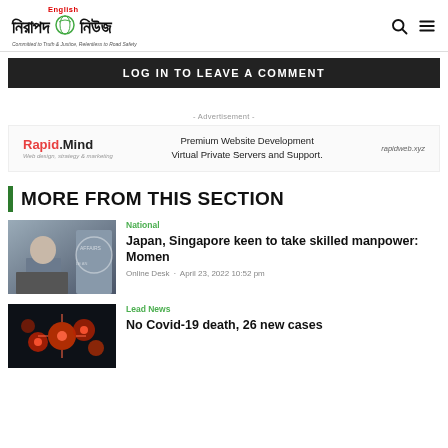নিরাপদ English নিউজ — Committed to Truth & Justice, Relentless to Road Safety
LOG IN TO LEAVE A COMMENT
- Advertisement -
[Figure (logo): Rapid.Mind — Web design, strategy & marketing — Premium Website Development Virtual Private Servers and Support. rapidweb.xyz]
MORE FROM THIS SECTION
[Figure (photo): Man speaking at podium with flag/banner in background]
National
Japan, Singapore keen to take skilled manpower: Momen
Online Desk · April 23, 2022 10:52 pm
[Figure (photo): Close-up microscope image of virus particles]
Lead News
No Covid-19 death, 26 new cases